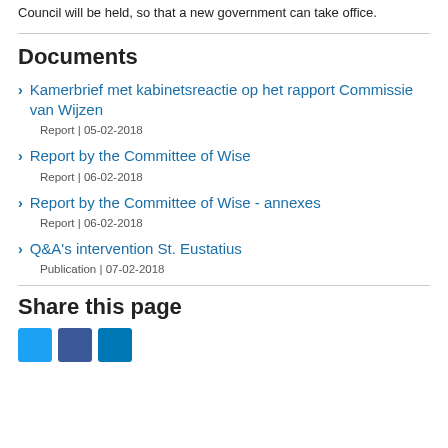Council will be held, so that a new government can take office.
Documents
Kamerbrief met kabinetsreactie op het rapport Commissie van Wijzen
Report | 05-02-2018
Report by the Committee of Wise
Report | 06-02-2018
Report by the Committee of Wise - annexes
Report | 06-02-2018
Q&A's intervention St. Eustatius
Publication | 07-02-2018
Share this page